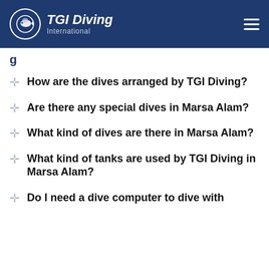TGI Diving International
g
How are the dives arranged by TGI Diving?
Are there any special dives in Marsa Alam?
What kind of dives are there in Marsa Alam?
What kind of tanks are used by TGI Diving in Marsa Alam?
Do I need a dive computer to dive with